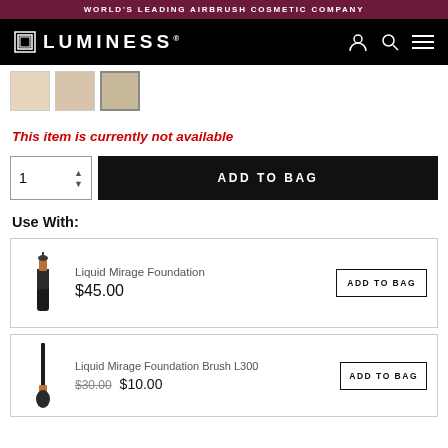WORLD'S LEADING AIRBRUSH COSMETIC COMPANY
[Figure (logo): Luminess logo with icon on black navigation bar]
[Figure (photo): Three product thumbnail images]
This item is currently not available
1  ADD TO BAG
Use With:
Liquid Mirage Foundation $45.00 ADD TO BAG
Liquid Mirage Foundation Brush L300 $30.00 $10.00 ADD TO BAG